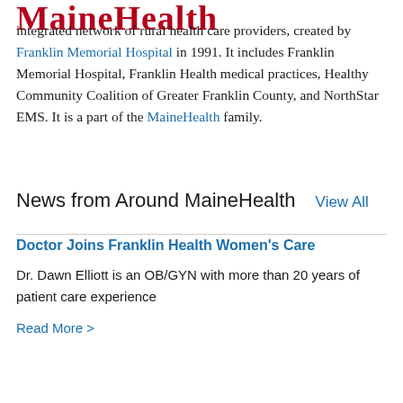MaineHealth
integrated network of rural health care providers, created by Franklin Memorial Hospital in 1991. It includes Franklin Memorial Hospital, Franklin Health medical practices, Healthy Community Coalition of Greater Franklin County, and NorthStar EMS. It is a part of the MaineHealth family.
News from Around MaineHealth  View All
Doctor Joins Franklin Health Women's Care
Dr. Dawn Elliott is an OB/GYN with more than 20 years of patient care experience
Read More >